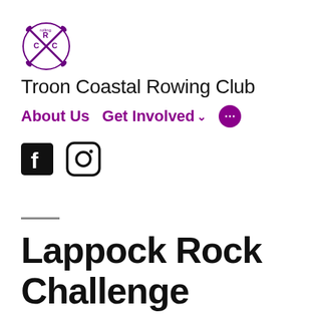[Figure (logo): Troon Coastal Rowing Club logo: crossed oars forming an X with letters C R C around them in a circular emblem, dark/black color]
Troon Coastal Rowing Club
About Us  Get Involved ˅  •••
[Figure (other): Facebook icon (black square with white F) and Instagram icon (square with rounded corners, camera outline)]
Lappock Rock Challenge